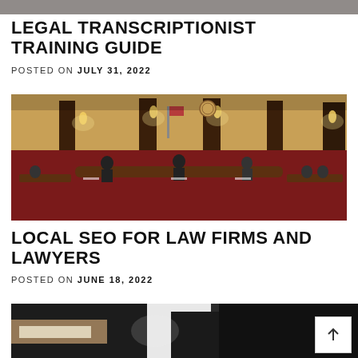[Figure (photo): Top portion of a partially visible photo at top of page]
LEGAL TRANSCRIPTIONIST TRAINING GUIDE
POSTED ON JULY 31, 2022
[Figure (photo): Courtroom interior with red carpet, wooden furniture, candle-style lights, and people seated at desks]
LOCAL SEO FOR LAW FIRMS AND LAWYERS
POSTED ON JUNE 18, 2022
[Figure (photo): Partial photo of person in suit, possibly shaking hands or exchanging documents]